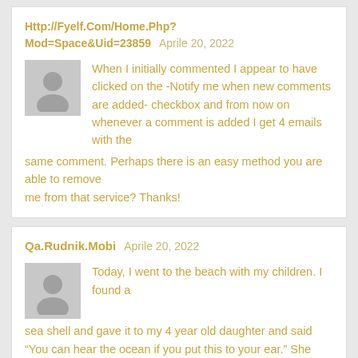Http://Fyelf.Com/Home.Php?Mod=Space&Uid=23859    Aprile 20, 2022
When I initially commented I appear to have clicked on the -Notify me when new comments are added- checkbox and from now on whenever a comment is added I get 4 emails with the same comment. Perhaps there is an easy method you are able to remove me from that service? Thanks!
Qa.Rudnik.Mobi    Aprile 20, 2022
Today, I went to the beach with my children. I found a sea shell and gave it to my 4 year old daughter and said “You can hear the ocean if you put this to your ear.” She placed the